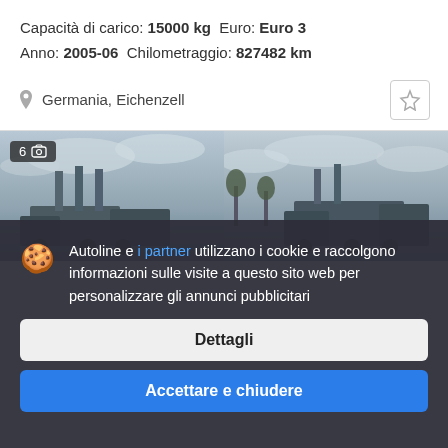Capacità di carico: 15000 kg  Euro: Euro 3
Anno: 2005-06  Chilometraggio: 827482 km
Germania, Eichenzell
[Figure (photo): Two truck photos side by side with overcast sky background; left photo shows badge with '6' and camera icon]
Autoline e i partner utilizzano i cookie e raccolgono informazioni sulle visite a questo sito web per personalizzare gli annunci pubblicitari
Dettagli
Accettare e chiudere